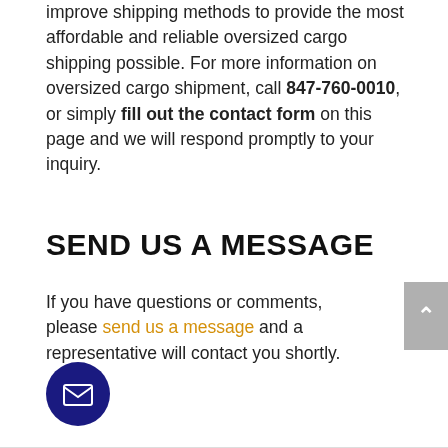improve shipping methods to provide the most affordable and reliable oversized cargo shipping possible. For more information on oversized cargo shipment, call 847-760-0010, or simply fill out the contact form on this page and we will respond promptly to your inquiry.
SEND US A MESSAGE
If you have questions or comments, please send us a message and a representative will contact you shortly.
[Figure (illustration): Dark navy blue circular email button icon with white envelope symbol]